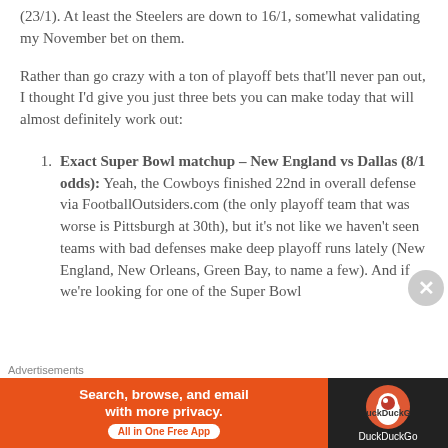(23/1). At least the Steelers are down to 16/1, somewhat validating my November bet on them.
Rather than go crazy with a ton of playoff bets that'll never pan out, I thought I'd give you just three bets you can make today that will almost definitely work out:
Exact Super Bowl matchup – New England vs Dallas (8/1 odds): Yeah, the Cowboys finished 22nd in overall defense via FootballOutsiders.com (the only playoff team that was worse is Pittsburgh at 30th), but it's not like we haven't seen teams with bad defenses make deep playoff runs lately (New England, New Orleans, Green Bay, to name a few). And if we're looking for one of the Super Bowl
[Figure (infographic): DuckDuckGo advertisement banner: orange left side with text 'Search, browse, and email with more privacy. All in One Free App' and dark right side with DuckDuckGo logo and name.]